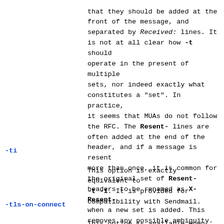that they should be added at the front of the message, and separated by Received: lines. It is not at all clear how -t should operate in the present of multiple sets, nor indeed exactly what constitutes a "set". In practice, it seems that MUAs do not follow the RFC. The Resent- lines are often added at the end of the header, and if a message is resent more than once, it is common for the original set of Resent- headers to be renamed as X-Resent- when a new set is added. This removes any possible ambiguity.
-ti
This option is exactly equivalent to -t -i. It is provided for compatibility with Sendmail.
-tls-on-connect
This option is available when Exim